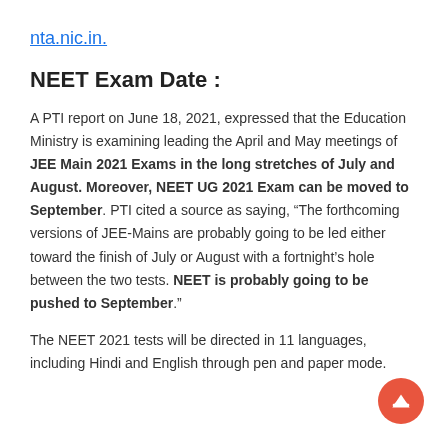nta.nic.in.
NEET Exam Date :
A PTI report on June 18, 2021, expressed that the Education Ministry is examining leading the April and May meetings of JEE Main 2021 Exams in the long stretches of July and August. Moreover, NEET UG 2021 Exam can be moved to September. PTI cited a source as saying, “The forthcoming versions of JEE-Mains are probably going to be led either toward the finish of July or August with a fortnight’s hole between the two tests. NEET is probably going to be pushed to September.”
The NEET 2021 tests will be directed in 11 languages, including Hindi and English through pen and paper mode.